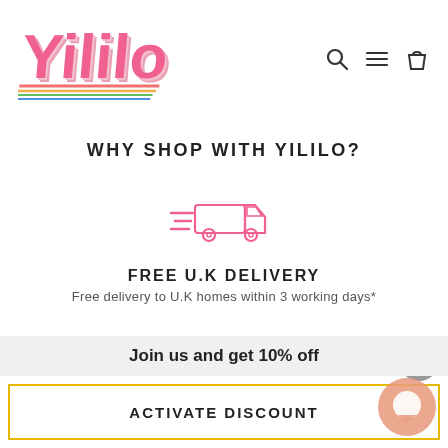[Figure (logo): Yililo brand logo in pink retro bubble letters with colored shadow lines]
[Figure (other): Navigation icons: search (magnifying glass), hamburger menu, shopping bag]
WHY SHOP WITH YILILO?
[Figure (illustration): Pink outline delivery truck icon with speed lines]
FREE U.K DELIVERY
Free delivery to U.K homes within 3 working days*
Join us and get 10% off
ACTIVATE DISCOUNT